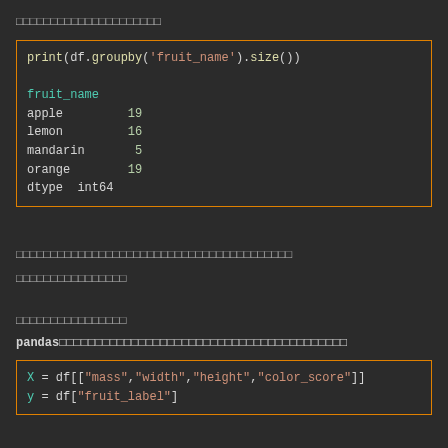□□□□□□□□□□□□□□□□□□□□□
[Figure (screenshot): Code block showing: print(df.groupby('fruit_name').size()) with output listing fruit_name, apple 19, lemon 16, mandarin 5, orange 19, dtype: int64]
□□□□□□□□□□□□□□□□□□□□□□□□□□□□□□□□□□□□□□
□□□□□□□□□□□□□□□□
□□□□□□□□□□□□□□□□
pandas□□□□□□□□□□□□□□□□□□□□□□□□□□□□□□□□□□□□□□□
[Figure (screenshot): Code block showing: X = df[["mass","width","height","color_score"]] and y = df["fruit_label"]]